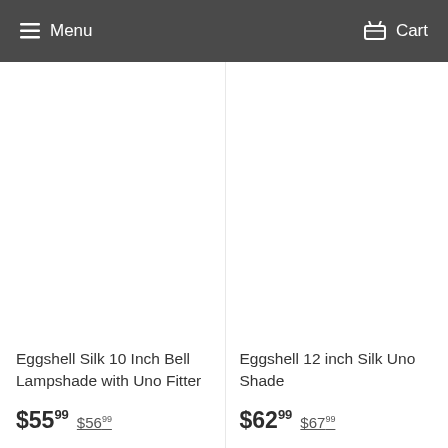Menu   Cart
Eggshell Silk 10 Inch Bell Lampshade with Uno Fitter
$55.99  $56.99
Eggshell 12 inch Silk Uno Shade
$62.99  $67.99